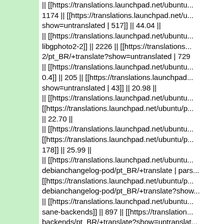|| [[https://translations.launchpad.net/ubuntu... 1174 || [[https://translations.launchpad.net/u...show=untranslated | 517]] || 44.04 || || [[https://translations.launchpad.net/ubuntu...libgphoto2-2]] || 2226 || [[https://translations...2/pt_BR/+translate?show=untranslated | 729 || [[https://translations.launchpad.net/ubuntu...0.4]] || 205 || [[https://translations.launchpad...show=untranslated | 43]] || 20.98 || || [[https://translations.launchpad.net/ubuntu...[[https://translations.launchpad.net/ubuntu/p...|| 22.70 || || [[https://translations.launchpad.net/ubuntu...[[https://translations.launchpad.net/ubuntu/p...178]] || 25.99 || || [[https://translations.launchpad.net/ubuntu...debianchangelog-pod/pt_BR/+translate | pars...[[https://translations.launchpad.net/ubuntu/p...debianchangelog-pod/pt_BR/+translate?show...|| [[https://translations.launchpad.net/ubuntu...sane-backends]] || 897 || [[https://translation...backends/pt_BR/+translate?show=untranslat...|| [[https://translations.launchpad.net/ubuntu...2473 || [[https://translations.launchpad.net/...